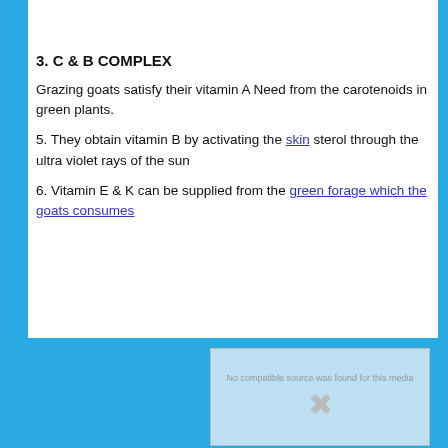3. C & B COMPLEX
Grazing goats satisfy their vitamin A Need from the carotenoids in green plants.
5. They obtain vitamin B by activating the skin sterol through the ultra violet rays of the sun
6. Vitamin E & K can be supplied from the green forage which the goats consumes
[Figure (screenshot): Video player overlay showing 'No compatible source was found for this media' error with an X icon]